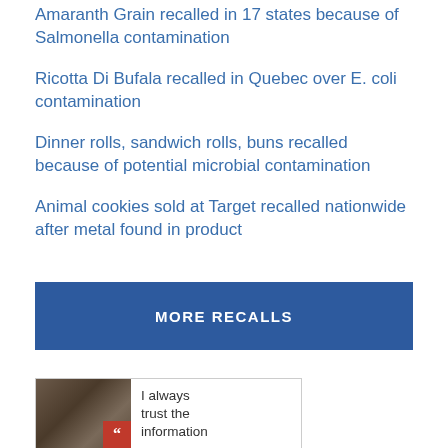Amaranth Grain recalled in 17 states because of Salmonella contamination
Ricotta Di Bufala recalled in Quebec over E. coli contamination
Dinner rolls, sandwich rolls, buns recalled because of potential microbial contamination
Animal cookies sold at Target recalled nationwide after metal found in product
[Figure (other): Blue button with text MORE RECALLS]
[Figure (photo): Testimonial section with a woman's photo, red quote badge, and text: I always trust the information]